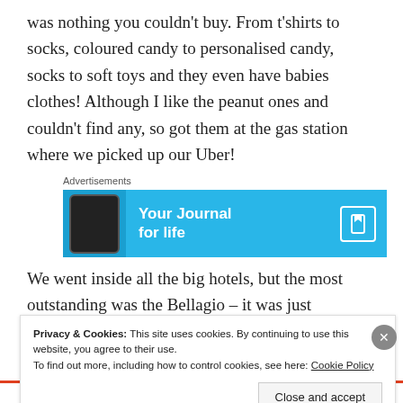was nothing you couldn't buy. From t'shirts to socks, coloured candy to personalised candy, socks to soft toys and they even have babies clothes! Although I like the peanut ones and couldn't find any, so got them at the gas station where we picked up our Uber!
[Figure (infographic): Advertisements banner: 'Your Journal for life' app advertisement with blue background, showing a phone image on the left and a bookmark icon on the right.]
We went inside all the big hotels, but the most outstanding was the Bellagio – it was just fabulous.
Privacy & Cookies: This site uses cookies. By continuing to use this website, you agree to their use. To find out more, including how to control cookies, see here: Cookie Policy
Close and accept